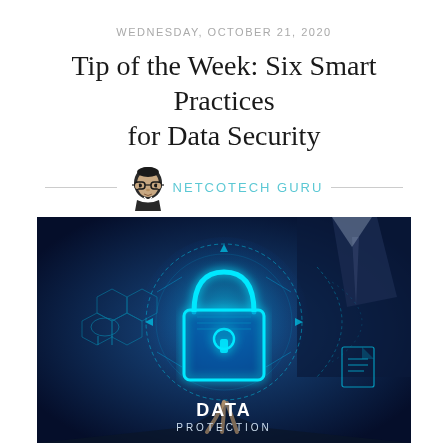WEDNESDAY, OCTOBER 21, 2020
Tip of the Week: Six Smart Practices for Data Security
[Figure (logo): Netcotech Guru logo — cartoon head with glasses icon and text 'NETCOTECH GURU' in teal/cyan color, flanked by horizontal lines]
[Figure (photo): Dark blue technology background showing a glowing cyan digital padlock with hexagon network patterns and circular technical diagrams, with text 'DATA PROTECTION' at the bottom. A businessman in suit and tie visible in the background (blurred). A hand reaching toward the padlock from the bottom.]